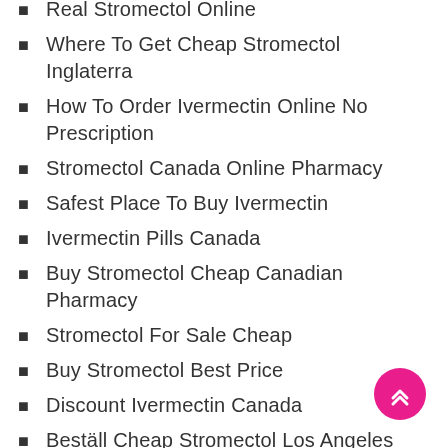Real Stromectol Online
Where To Get Cheap Stromectol Inglaterra
How To Order Ivermectin Online No Prescription
Stromectol Canada Online Pharmacy
Safest Place To Buy Ivermectin
Ivermectin Pills Canada
Buy Stromectol Cheap Canadian Pharmacy
Stromectol For Sale Cheap
Buy Stromectol Best Price
Discount Ivermectin Canada
Beställ Cheap Stromectol Los Angeles
Purchase Cheap Stromectol Sverige
Where To Buy Cheap Stromectol Chicago
Buy Stromectol Without Prescription